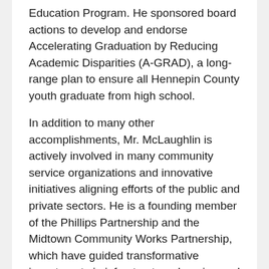Education Program. He sponsored board actions to develop and endorse Accelerating Graduation by Reducing Academic Disparities (A-GRAD), a long-range plan to ensure all Hennepin County youth graduate from high school.
In addition to many other accomplishments, Mr. McLaughlin is actively involved in many community service organizations and innovative initiatives aligning efforts of the public and private sectors. He is a founding member of the Phillips Partnership and the Midtown Community Works Partnership, which have guided transformative investments in infrastructure, housing and jobs in the Phillips neighborhood of Minneapolis and along the Midtown Greenway corridor, respectively, over the past 15...